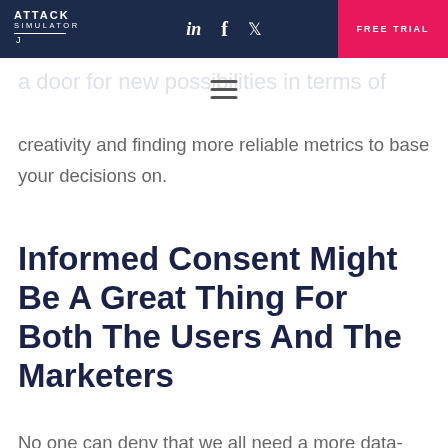ATTACK SIMULATOR | LinkedIn | Facebook | Twitter | FREE TRIAL
a door for new possibilities in terms of creativity and finding more reliable metrics to base your decisions on.
Informed Consent Might Be A Great Thing For Both The Users And The Marketers
No one can deny that we all need a more data-protected internet experience, with everything that has happened and the